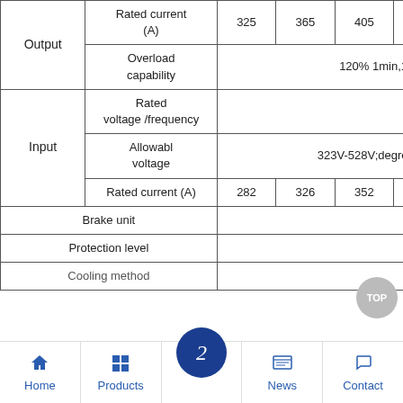|  |  | 325 | 365 | 405 | 440 | 495 | 547 | 610 |
| --- | --- | --- | --- | --- | --- | --- | --- | --- |
| Output | Rated current (A) | 325 | 365 | 405 | 440 | 495 | 547 | 610 |
|  | Overload capability | 120% 1min,160% 0.5s,10min int |
| Input | Rated voltage /frequency | 3-phase 380V-4... |
|  | Allowable voltage | 323V-528V;degree of voltage unbalance:... |
|  | Rated current (A) | 282 | 326 | 352 | 385 | 437 | 491 | 580 |
| Brake unit |  | External braki... |
| Protection level |  |  |
| Cooling method |  | Force... |
Home | Products | (logo) | News | Contact